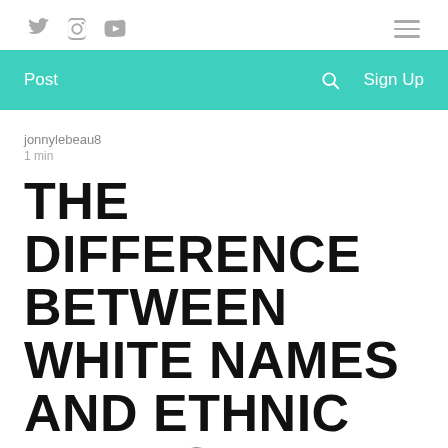Social icons: Twitter, Instagram, YouTube; Hamburger menu
[Figure (infographic): Navigation bar with teal/turquoise background containing Post link, search icon, and Sign Up button]
jonnylebeau8
1 min
THE DIFFERENCE BETWEEN WHITE NAMES AND ETHNIC NAMES
Jasmine Flower